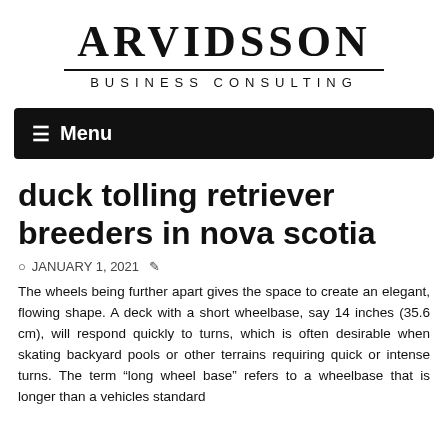ARVIDSSON
BUSINESS CONSULTING
duck tolling retriever breeders in nova scotia
JANUARY 1, 2021
The wheels being further apart gives the space to create an elegant, flowing shape. A deck with a short wheelbase, say 14 inches (35.6 cm), will respond quickly to turns, which is often desirable when skating backyard pools or other terrains requiring quick or intense turns. The term “long wheel base” refers to a wheelbase that is longer than a vehicles standard